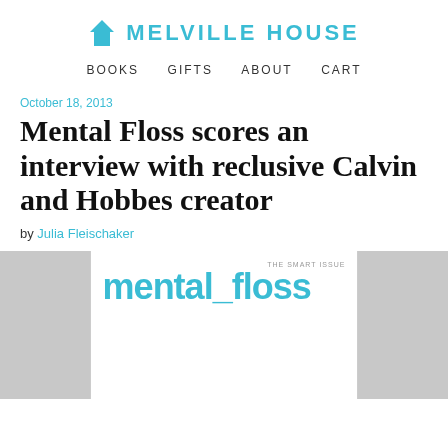MELVILLE HOUSE
BOOKS   GIFTS   ABOUT   CART
October 18, 2013
Mental Floss scores an interview with reclusive Calvin and Hobbes creator
by Julia Fleischaker
[Figure (photo): Mental Floss magazine cover partially visible, showing the mental_floss logo in teal/cyan text on a white background, flanked by gray image panels on the left and right]